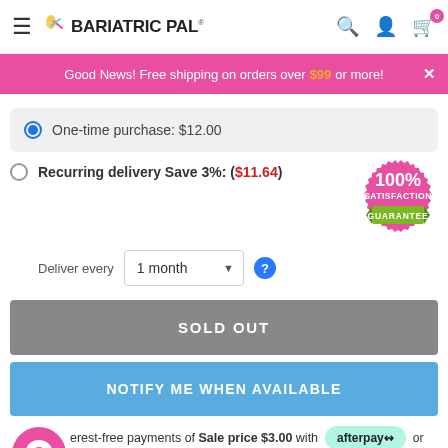BariatricPal® — Navigation header with search, account, and cart icons
Good News! Free shipping on orders over $99 or more!
One-time purchase: $12.00
Recurring delivery Save 3%: ($11.64)
Deliver every 1 month
[Figure (illustration): 100% Satisfaction Guarantee pink badge with green ribbon]
SOLD OUT
NOTIFY ME WHEN AVAILABLE
interest-free payments of Sale price $3.00 with afterpay or
shop Pay